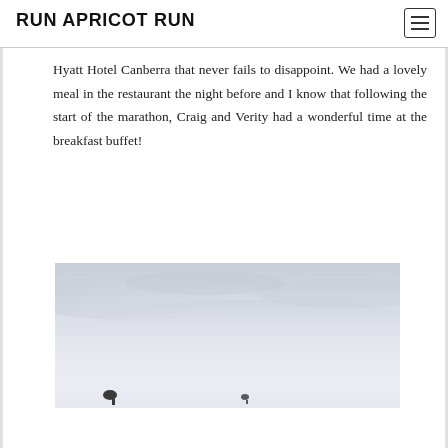RUN APRICOT RUN
Hyatt Hotel Canberra that never fails to disappoint. We had a lovely meal in the restaurant the night before and I know that following the start of the marathon, Craig and Verity had a wonderful time at the breakfast buffet!
[Figure (photo): Wide landscape photograph showing an overcast pale sky with subtle cloud gradients; two small dark figures (possibly hot air balloons or birds) are visible near the bottom of the image against the horizon.]